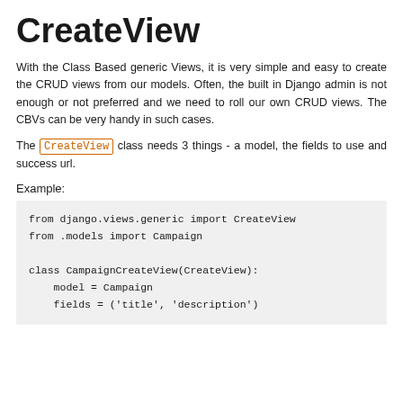CreateView
With the Class Based generic Views, it is very simple and easy to create the CRUD views from our models. Often, the built in Django admin is not enough or not preferred and we need to roll our own CRUD views. The CBVs can be very handy in such cases.
The CreateView class needs 3 things - a model, the fields to use and success url.
Example:
from django.views.generic import CreateView
from .models import Campaign

class CampaignCreateView(CreateView):
    model = Campaign
    fields = ('title', 'description')